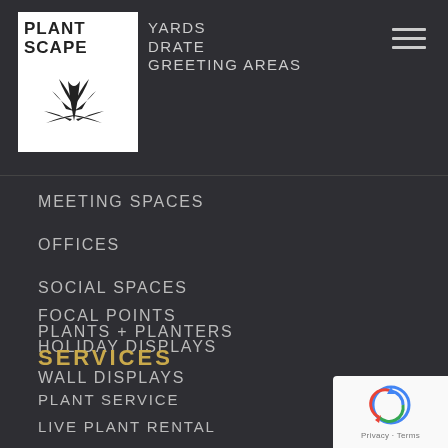[Figure (logo): Plantscape logo with plant illustration on white background]
YARDS
DRATE
GREETING AREAS
MEETING SPACES
OFFICES
SOCIAL SPACES
PLANTS + PLANTERS
FOCAL POINTS
HOLIDAY DISPLAYS
WALL DISPLAYS
SERVICES
PLANT SERVICE
LIVE PLANT RENTAL
[Figure (other): reCAPTCHA badge with Privacy and Terms text]